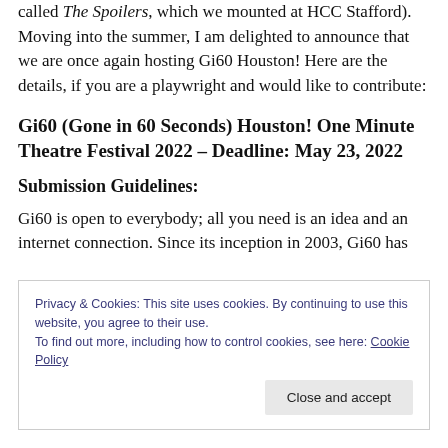called The Spoilers, which we mounted at HCC Stafford). Moving into the summer, I am delighted to announce that we are once again hosting Gi60 Houston! Here are the details, if you are a playwright and would like to contribute:
Gi60 (Gone in 60 Seconds) Houston! One Minute Theatre Festival 2022 – Deadline: May 23, 2022
Submission Guidelines:
Gi60 is open to everybody; all you need is an idea and an internet connection. Since its inception in 2003, Gi60 has
Privacy & Cookies: This site uses cookies. By continuing to use this website, you agree to their use.
To find out more, including how to control cookies, see here: Cookie Policy